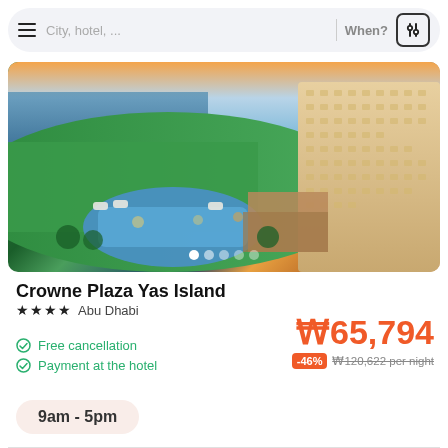City, hotel, ...  When?
[Figure (photo): Aerial view of Crowne Plaza Yas Island hotel showing pool area, green golf course, waterfront and hotel building at dusk]
Crowne Plaza Yas Island
★★★★  Abu Dhabi
₩65,794
-46%  ₩120,622 per night
Free cancellation
Payment at the hotel
9am - 5pm